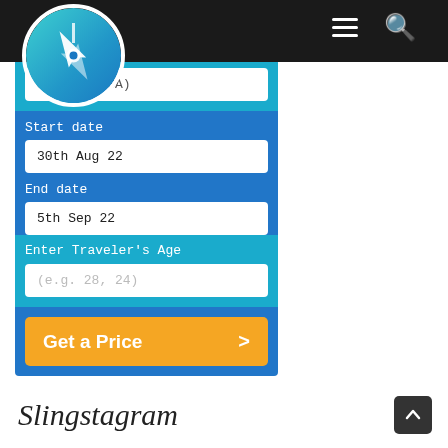[Figure (logo): Circular teal/blue logo with a compass/arrow icon in white]
States (USA)
Start date
30th Aug 22
End date
5th Sep 22
Enter Traveler's Age
(e.g. 28, 24)
Get a Price
Slingstagram